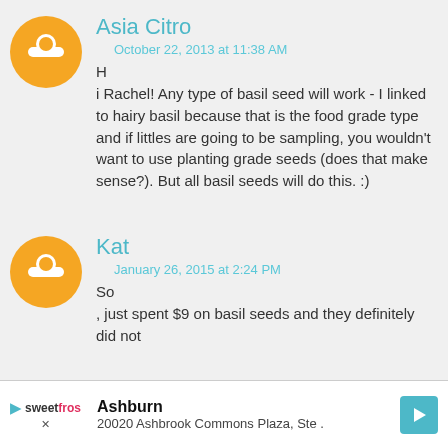Asia Citro
October 22, 2013 at 11:38 AM
Hi Rachel! Any type of basil seed will work - I linked to hairy basil because that is the food grade type and if littles are going to be sampling, you wouldn't want to use planting grade seeds (does that make sense?). But all basil seeds will do this. :)
Kat
January 26, 2015 at 2:24 PM
So, just spent $9 on basil seeds and they definitely did not
Ashburn 20020 Ashbrook Commons Plaza, Ste .